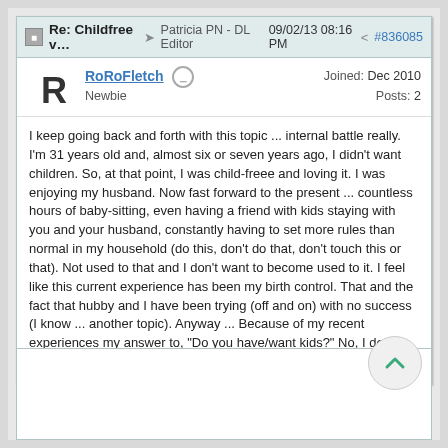Re: Childfree v… → Patricia PN - DL Editor 09/02/13 08:16 PM #836085
RoRoFletch  Newbie  Joined: Dec 2010  Posts: 2
I keep going back and forth with this topic ... internal battle really. I'm 31 years old and, almost six or seven years ago, I didn't want children. So, at that point, I was child-freee and loving it. I was enjoying my husband. Now fast forward to the present ... countless hours of baby-sitting, even having a friend with kids staying with you and your husband, constantly having to set more rules than normal in my household (do this, don't do that, don't touch this or that). Not used to that and I don't want to become used to it. I feel like this current experience has been my birth control. That and the fact that hubby and I have been trying (off and on) with no success (I know ... another topic). Anyway ... Because of my recent experiences my answer to, &quot;Do you have/want kids?&quot; No, I don't have them. I may want them, but not like yours.